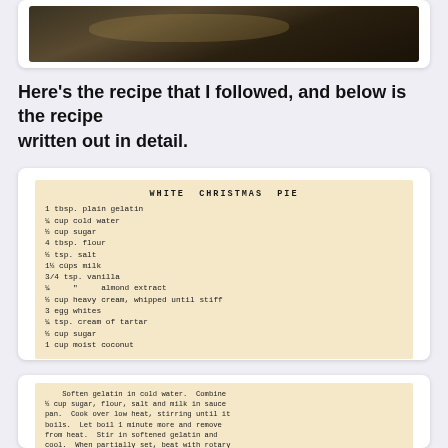[Figure (photo): Photo of a cooked dish in a dark pan, top portion cut off]
Here's the recipe that I followed, and below is the recipe written out in detail.
[Figure (photo): Scanned vintage recipe card on aged beige paper with typewritten text for WHITE CHRISTMAS PIE. Ingredients: 1 tbsp. plain gelatin, 1/4 cup cold water, 1/2 cup sugar, 4 tbsp. flour, 1/2 tsp. salt, 1 1/2 cups milk, 3/4 tsp. vanilla, 1/4 " almond extract, 1/2 cup heavy cream whipped until stiff, 3 egg whites, 1/4 tsp. cream of tartar, 1/2 cup sugar, 1 cup moist coconut]
[Figure (photo): Scanned vintage recipe card on aged beige paper with typewritten instructions for White Christmas Pie. Text: Soften gelatin in cold water. Combine 1/2 cup sugar, flour, salt and milk in sauce pan. Cook over low heat, stirring until it boils. Let boil 1 minute more and remove from heat. Stir in softened gelatin and cool. When partially set, beat with rotary egg beater until smooth. Blend in flavorings, then gently fold in the whipped cream. Make a meringue by beating the egg whites until stiff, then beating in cream of tartar and then the other one-half cup sugar. Carefully fold gelatin mixture into this meringue. Then fold in the moist coconut. Pour into a]